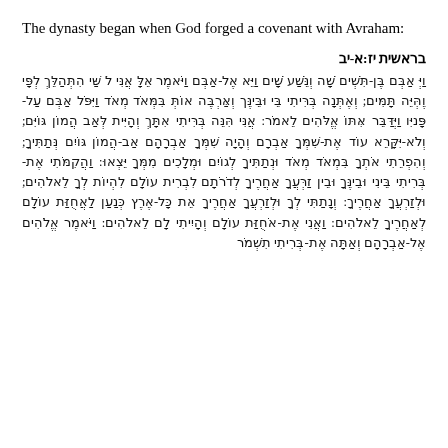The dynasty began when God forged a covenant with Avraham:
בראשית יז:א-יב
ויּ אבּם בּן-תּשׁים שׁה ונּשׁע שׁים ויּא אל-אבּם ואמּר אלּ אנּי לׂ שּׁי התּהלּך לפּי והּה תּמּים; ואתּה בּרּי בּי ובּין ואּרּה אותּ בּמּד מאּד ויּל אבּם עלּפּיו ויּדּּר אּן אלּים לאמּר: אּי הּה בּרּי אּך והּית לּב הּון גּוּים; ולא-יּּק עּד אּת-שׁמּך אבּם והּה שׁמּך אּבּּם אּב-הּּון גּוּם נּתּּיך; והּפּרּי אּת בּמּד מּד ונּתּּנּ לגּנּּם ומּלּכּים מּמּ יּּאו: והּקּמּּי אּת-בּרּּי בּּּי ובּּינּ ופּ זרּּ אּחּּּך לּדּּּם לבּּית עוּּּם להּּּות לּ לאלּּים; ולּזרּּּ אּחּּּרּּּיך: ונּּּּּי לּ ולּזרּּּ אּחּּּרּּּּיך אּת כּּּ-אּּּרּּץ כּּּּנּּּּ אּחּּּּּית-אּּחּּּּּיך לּּּּּזרּּּּ אּחּּּּּּיך לּּּּּאּּּּּּּלּּּּּּים: ולּּּּּאּּּּּּחּּּּּּנּּּּות עּּּּּּּּּם והּּּּּיּּּּּּּתּי לּּּּּּּם לּּּּּּּּאלּּּּּּּּים: ואמּּּּּּּּר אלּּּּּּּּּה אל-אבּּּּּּּּּּם ואּּּּּּּּּּה אּּּּּּּּּּת-בּּּּּּּּּּּרּּּּּּּּּּּית תּּּּּּּּּּּּשּּּּּּּּּּּּמּּּּּּּּּּּּר